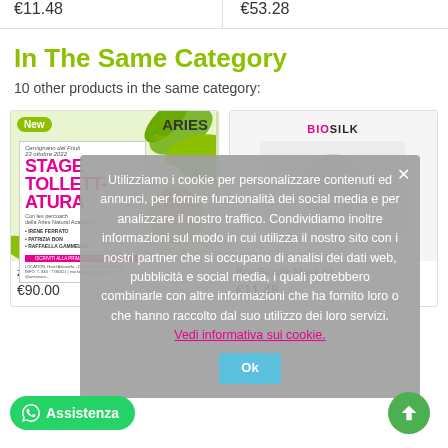€11.48
€53.28
In The Same Category
10 other products in the same category:
[Figure (screenshot): Product card for 'Stage Toelettatura' course by Aries Soluzioni Naturali, showing a promotional flyer with green leaves background, 'New' badge, date '23 ottobre 2022', instructors Irene Ferrato, Patrizia Bon, Raffaella Gammella]
zione sta...
€90.00
[Figure (screenshot): Partially visible Biosilk product card]
Bon Biosilk Mask SI...
€11.48
Utilizziamo i cookie per personalizzare contenuti ed annunci, per fornire funzionalità dei social media e per analizzare il nostro traffico. Condividiamo inoltre informazioni sul modo in cui utilizza il nostro sito con i nostri partner che si occupano di analisi dei dati web, pubblicità e social media, i quali potrebbero combinarle con altre informazioni che ha fornito loro o che hanno raccolto dal suo utilizzo dei loro servizi. Vedi informativa sui cookie.
Ok
Assistenza